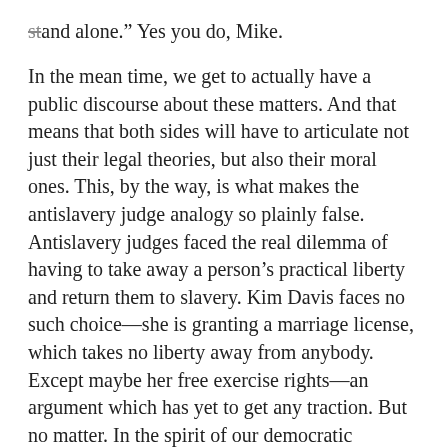stand alone." Yes you do, Mike.
In the mean time, we get to actually have a public discourse about these matters. And that means that both sides will have to articulate not just their legal theories, but also their moral ones. This, by the way, is what makes the antislavery judge analogy so plainly false. Antislavery judges faced the real dilemma of having to take away a person’s practical liberty and return them to slavery. Kim Davis faces no such choice—she is granting a marriage license, which takes no liberty away from anybody. Except maybe her free exercise rights—an argument which has yet to get any traction. But no matter. In the spirit of our democratic political culture, let Kim Davis explain herself. Let Mike Huckabee argue that Obergefell confuses rather than clarifies the status of same-sex marriage. Let same-sex marriage proponents continue to argue for equality and